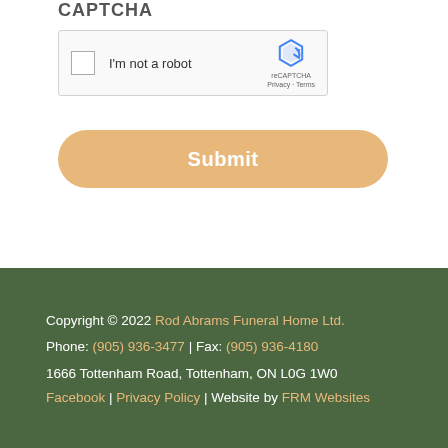CAPTCHA
[Figure (screenshot): reCAPTCHA widget with checkbox labeled 'I'm not a robot' and reCAPTCHA logo with Privacy and Terms links]
Submit
Copyright © 2022 Rod Abrams Funeral Home Ltd. Phone: (905) 936-3477 | Fax: (905) 936-4180 1666 Tottenham Road, Tottenham, ON L0G 1W0 Facebook | Privacy Policy | Website by FRM Websites